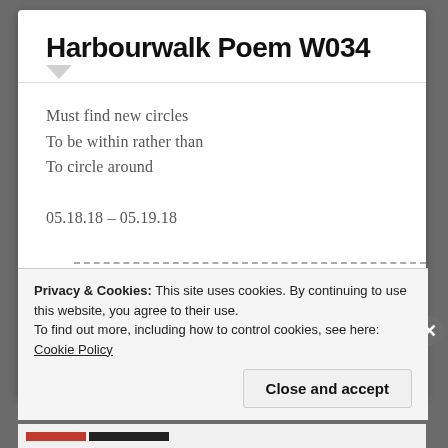Harbourwalk Poem W034
Must find new circles
To be within rather than
To circle around

05.18.18 – 05.19.18
Privacy & Cookies: This site uses cookies. By continuing to use this website, you agree to their use.
To find out more, including how to control cookies, see here: Cookie Policy
Close and accept